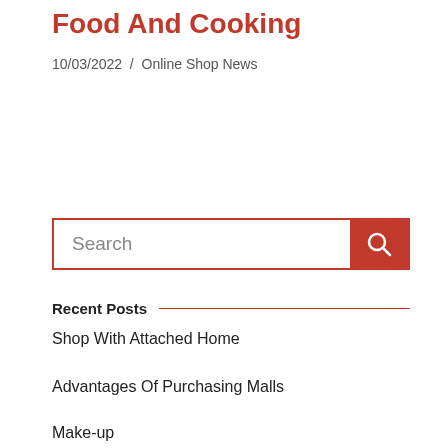Food And Cooking
10/03/2022  /  Online Shop News
[Figure (other): Search bar with red border and red search button with magnifying glass icon]
Recent Posts
Shop With Attached Home
Advantages Of Purchasing Malls
Make-up